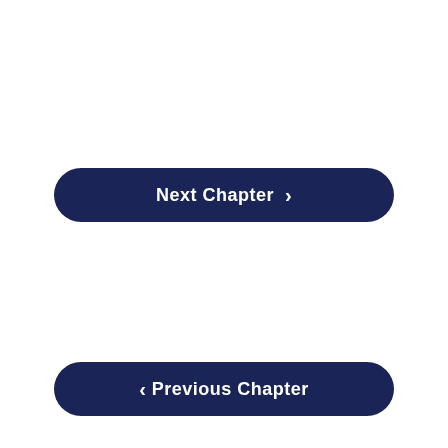Next Chapter >
< Previous Chapter